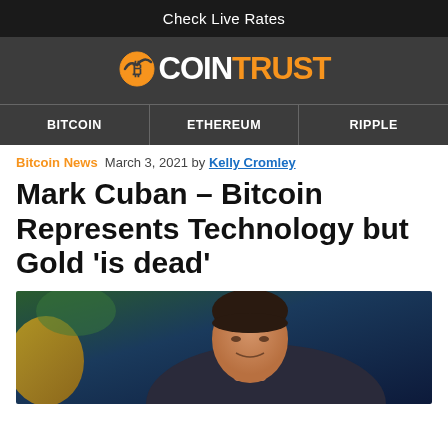Check Live Rates
[Figure (logo): CoinTrust logo with bitcoin coin icon, white and orange text on dark background]
BITCOIN  ETHEREUM  RIPPLE
Bitcoin News  March 3, 2021 by Kelly Cromley
Mark Cuban – Bitcoin Represents Technology but Gold 'is dead'
[Figure (photo): Photo of a man (Mark Cuban) with dark hair against a blurred colorful background]